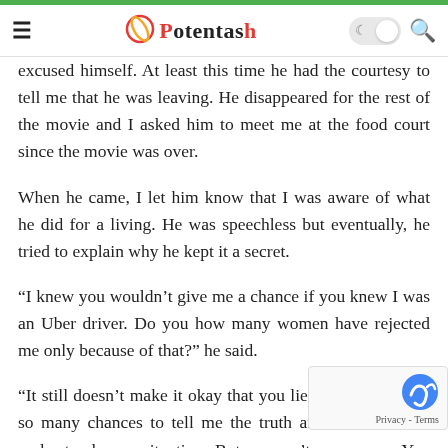Potentash
excused himself. At least this time he had the courtesy to tell me that he was leaving. He disappeared for the rest of the movie and I asked him to meet me at the food court since the movie was over.
When he came, I let him know that I was aware of what he did for a living. He was speechless but eventually, he tried to explain why he kept it a secret.
“I knew you wouldn’t give me a chance if you knew I was an Uber driver. Do you how many women have rejected me only because of that?” he said.
“It still doesn’t make it okay that you lied to me. You had so many chances to tell me the truth and I would have understood your situation. But we can’t wor… now. You even left to do a job on our date. That’s just